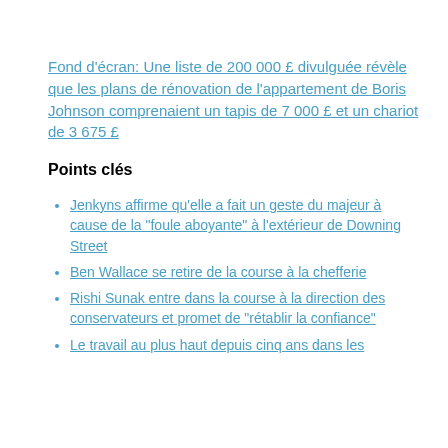Fond d'écran: Une liste de 200 000 £ divulguée révèle que les plans de rénovation de l'appartement de Boris Johnson comprenaient un tapis de 7 000 £ et un chariot de 3 675 £
Points clés
Jenkyns affirme qu'elle a fait un geste du majeur à cause de la "foule aboyante" à l'extérieur de Downing Street
Ben Wallace se retire de la course à la chefferie
Rishi Sunak entre dans la course à la direction des conservateurs et promet de "rétablir la confiance"
Le travail au plus haut depuis cinq ans dans les